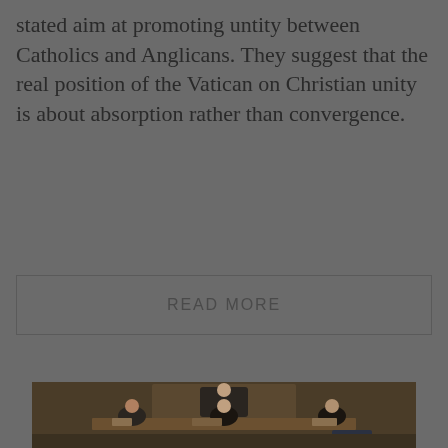stated aim at promoting untity between Catholics and Anglicans. They suggest that the real position of the Vatican on Christian unity is about absorption rather than convergence.
READ MORE
[Figure (photo): A parliamentary or legislative chamber scene showing several people seated at wooden desks. A man in a suit is seated at an elevated position at the back (likely a speaker or chairman), while others are seated in front. The room has wooden panelling and appears to be a formal government chamber.]